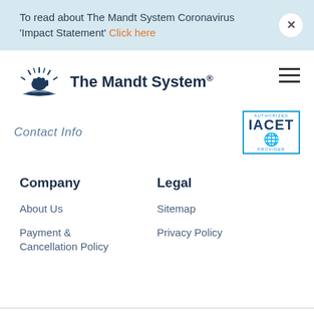To read about The Mandt System Coronavirus 'Impact Statement' Click here
[Figure (logo): The Mandt System logo with sun/book graphic and text 'The Mandt System®']
Contact Info
[Figure (logo): IACET Authorized Provider badge]
Company
Legal
About Us
Sitemap
Payment & Cancellation Policy
Privacy Policy